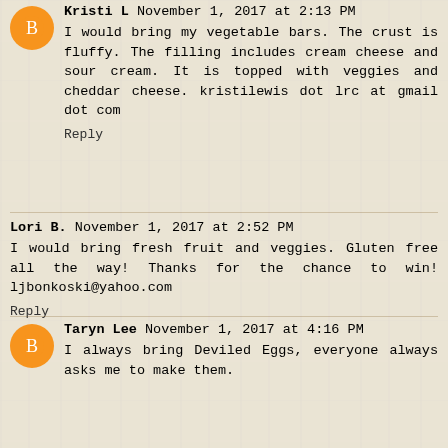Kristi L November 1, 2017 at 2:13 PM
I would bring my vegetable bars. The crust is fluffy. The filling includes cream cheese and sour cream. It is topped with veggies and cheddar cheese. kristilewis dot lrc at gmail dot com
Reply
Lori B. November 1, 2017 at 2:52 PM
I would bring fresh fruit and veggies. Gluten free all the way! Thanks for the chance to win! ljbonkoski@yahoo.com
Reply
Taryn Lee November 1, 2017 at 4:16 PM
I always bring Deviled Eggs, everyone always asks me to make them.